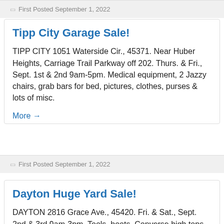First Posted September 1, 2022
Tipp City Garage Sale!
TIPP CITY 1051 Waterside Cir., 45371. Near Huber Heights, Carriage Trail Parkway off 202. Thurs. & Fri., Sept. 1st & 2nd 9am-5pm. Medical equipment, 2 Jazzy chairs, grab bars for bed, pictures, clothes, purses & lots of misc.
More →
First Posted September 1, 2022
Dayton Huge Yard Sale!
DAYTON 2816 Grace Ave., 45420. Fri. & Sat., Sept. 2nd & 3rd 9am-3pm. Tools, boots, Converse high tops, vintage potato bin, kitchen cookware including immersion blender, golf clubs, antique hutch & wooden tools, and more!